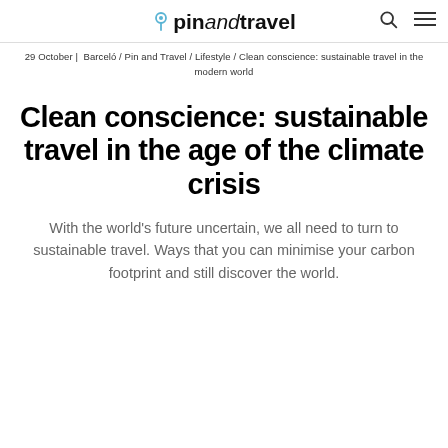pinandtravel
29 October | Barceló / Pin and Travel / Lifestyle / Clean conscience: sustainable travel in the modern world
Clean conscience: sustainable travel in the age of the climate crisis
With the world's future uncertain, we all need to turn to sustainable travel. Ways that you can minimise your carbon footprint and still discover the world.